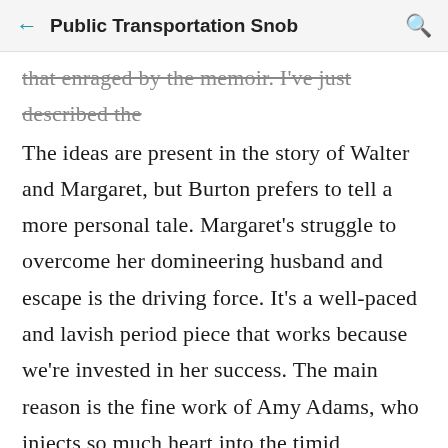Public Transportation Snob
that enraged by the memoir. I've just described the The ideas are present in the story of Walter and Margaret, but Burton prefers to tell a more personal tale. Margaret's struggle to overcome her domineering husband and escape is the driving force. It's a well-paced and lavish period piece that works because we're invested in her success. The main reason is the fine work of Amy Adams, who injects so much heart into the timid character. She makes us desperate to see Keane get his comeuppance, and the reward is worth the wait. Adams finds soul in a character that could be frustrating.